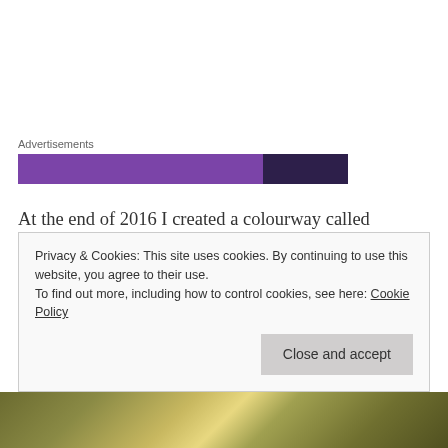Advertisements
[Figure (other): Advertisement banner with purple gradient bar]
At the end of 2016 I created a colourway called ‘Wisteria Arbour’. I had it. This was my colour. So I dyed up my 6 remaining skeins in this colourway and I used the project as my Christmas Eve cast on. I was worried slightly that the colourway would be too variegated for the lace in the pattern but I needn’t have concerned myself. As an Instagram friend commented, it seems I have the perfect
Privacy & Cookies: This site uses cookies. By continuing to use this website, you agree to their use.
To find out more, including how to control cookies, see here: Cookie Policy
Close and accept
[Figure (photo): Partial image of foliage visible at bottom of page]